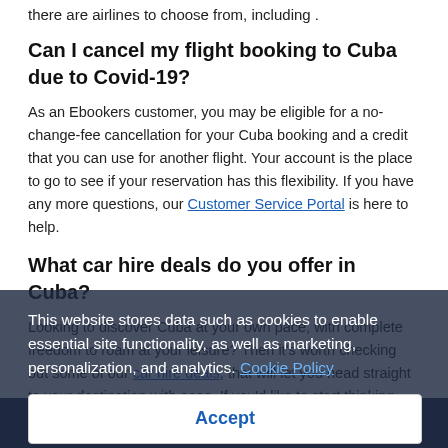there are airlines to choose from, including .
Can I cancel my flight booking to Cuba due to Covid-19?
As an Ebookers customer, you may be eligible for a no-change-fee cancellation for your Cuba booking and a credit that you can use for another flight. Your account is the place to go to see if your reservation has this flexibility. If you have any more questions, our Customer Service Portal is here to help.
What car hire deals do you offer in Cuba?
Looking to discover Cuba at your own pace, with complete freedom to roam at your leisure? Then it's worth checking out some of our car hire deals, that will let you head straight to your destination with ease. If you'd like to start thinking about public transport timetables and our cookie policy for places to check out if you take a look at our Things to Do tool and put together your ideal itinerary.
This website stores data such as cookies to enable essential site functionality, as well as marketing, personalization, and analytics. Cookie Policy
Accept
Deny
Search flights